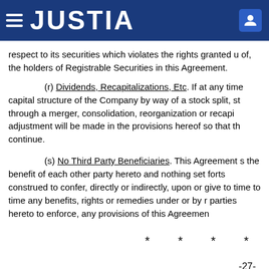JUSTIA
respect to its securities which violates the rights granted of, the holders of Registrable Securities in this Agreement.
(r) Dividends, Recapitalizations, Etc. If at any time capital structure of the Company by way of a stock split, st through a merger, consolidation, reorganization or recapi adjustment will be made in the provisions hereof so that t continue.
(s) No Third Party Beneficiaries. This Agreement s the benefit of each other party hereto and nothing set fort construed to confer, directly or indirectly, upon or give to time to time any benefits, rights or remedies under or by r parties hereto to enforce, any provisions of this Agreemen
* * * *
-27-